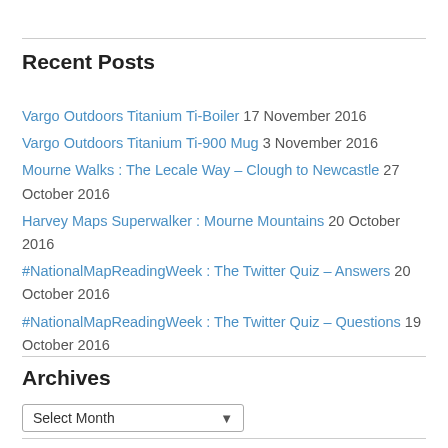Recent Posts
Vargo Outdoors Titanium Ti-Boiler 17 November 2016
Vargo Outdoors Titanium Ti-900 Mug 3 November 2016
Mourne Walks : The Lecale Way – Clough to Newcastle 27 October 2016
Harvey Maps Superwalker : Mourne Mountains 20 October 2016
#NationalMapReadingWeek : The Twitter Quiz – Answers 20 October 2016
#NationalMapReadingWeek : The Twitter Quiz – Questions 19 October 2016
Archives
Select Month